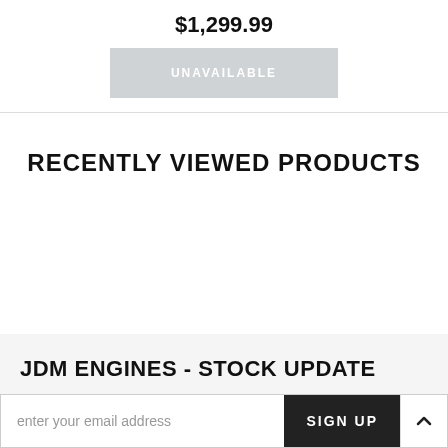$1,299.99
UNAVAILABLE
RECENTLY VIEWED PRODUCTS
JDM ENGINES - STOCK UPDATE
enter your email address
SIGN UP